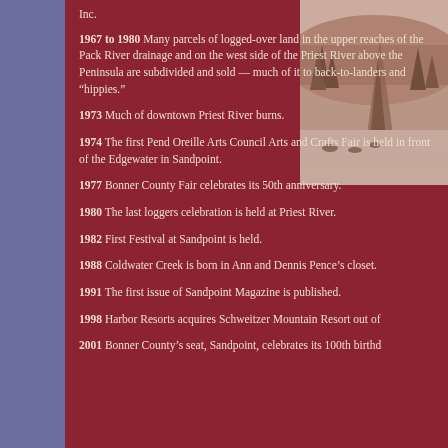[Figure (photo): Sepia-toned winter landscape showing snow-covered hillside with pine trees and what appears to be elk or bison in a snowy field]
1967 to 1980 Many parcels of logged-over land in the upper reaches of the Pack River drainage and on the west side of the Priest River above the Peninsula are subdivided and sold — much of it to back-to-landers and "hippies."
1973 Much of downtown Priest River burns.
1974 The first Pend Oreille Arts Council Arts and Crafts Fair is held in front of the Edgewater in Sandpoint.
1977 Bonner County Fair celebrates its 50th anniversary.
1980 The last loggers celebration is held at Priest River.
1982 First Festival at Sandpoint is held.
1988 Coldwater Creek is born in Ann and Dennis Pence's closet.
1991 The first issue of Sandpoint Magazine is published.
1998 Harbor Resorts acquires Schweitzer Mountain Resort out of
2001 Bonner County's seat, Sandpoint, celebrates its 100th birthd